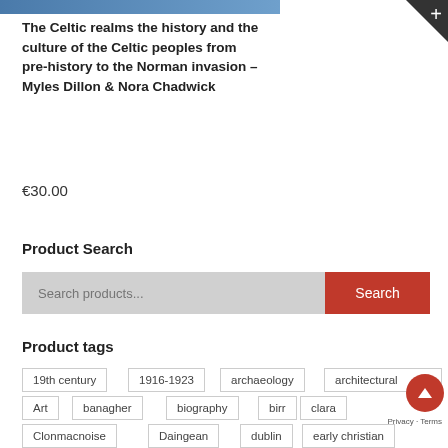[Figure (photo): Top portion of a book cover image in blue tones, partially visible at top of page]
The Celtic realms the history and the culture of the Celtic peoples from pre-history to the Norman invasion – Myles Dillon & Nora Chadwick
€30.00
Product Search
[Figure (screenshot): Search input field with placeholder text 'Search products...' and a red Search button]
Product tags
19th century
1916-1923
archaeology
architectural
Art
banagher
biography
birr
clara
Clonmacnoise
Daingean
dublin
early christian